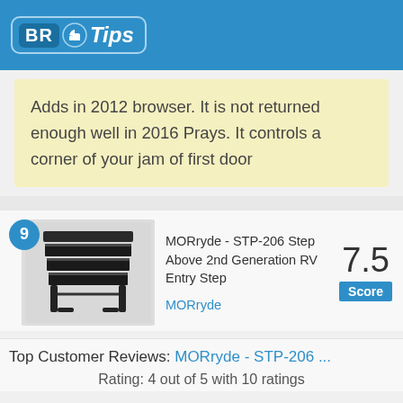BR Tips
Adds in 2012 browser. It is not returned enough well in 2016 Prays. It controls a corner of your jam of first door
[Figure (photo): MORryde STP-206 RV entry step - black metal step with three treads]
MORryde - STP-206 Step Above 2nd Generation RV Entry Step
MORryde
7.5 Score
Top Customer Reviews: MORryde - STP-206 ...
Rating: 4 out of 5 with 10 ratings